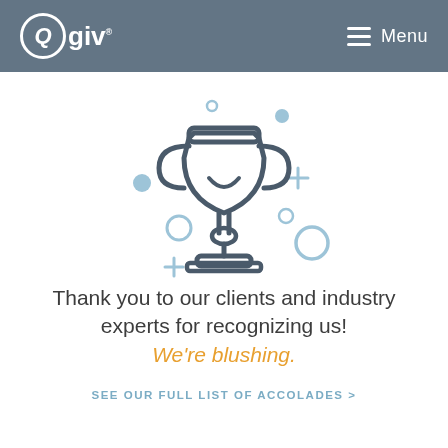Qgiv | Menu
[Figure (illustration): Trophy icon with decorative blue circles, rings, and plus signs around it, representing awards and accolades.]
Thank you to our clients and industry experts for recognizing us!
We're blushing.
SEE OUR FULL LIST OF ACCOLADES >